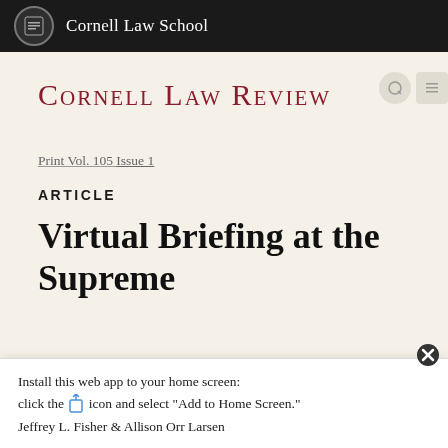Cornell Law School
Cornell Law Review
Print Vol. 105 Issue 1
ARTICLE
Virtual Briefing at the Supreme
Install this web app to your home screen: click the [share] icon and select "Add to Home Screen."
Jeffrey L. Fisher & Allison Orr Larsen